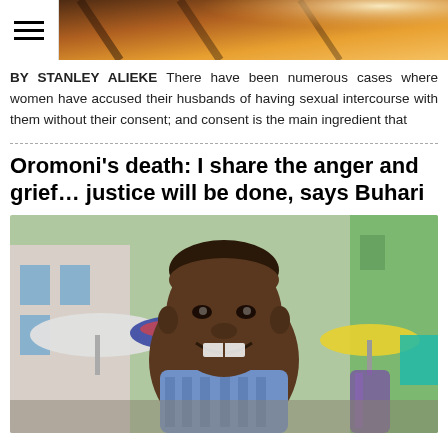[Figure (photo): Header image showing a warm indoor scene with amber/golden lighting]
BY STANLEY ALIEKE There have been numerous cases where women have accused their husbands of having sexual intercourse with them without their consent; and consent is the main ingredient that
Oromoni's death: I share the anger and grief… justice will be done, says Buhari
[Figure (photo): Photo of a young smiling Black boy wearing a blue patterned shirt, standing outdoors with colorful market umbrellas and buildings in the background]